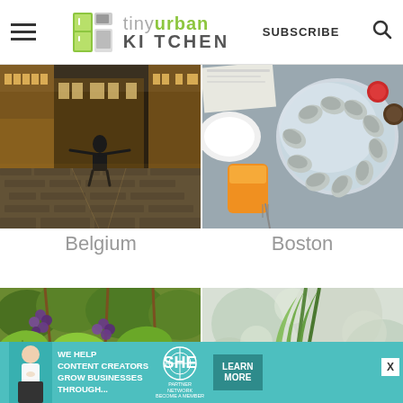tiny urban KITCHEN | SUBSCRIBE
[Figure (photo): Woman posing with arms outstretched in a cobblestone square (Grand Place, Brussels) at night with illuminated buildings in background]
[Figure (photo): Overhead view of oysters on ice with orange juice, sauces, and seafood on a table]
Belgium
Boston
[Figure (photo): Close-up of green grape vine leaves and purple grapes on a vine]
[Figure (photo): Blurred background with green plant leaves in foreground]
[Figure (infographic): SHE Media Partner Network advertisement banner: WE HELP CONTENT CREATORS GROW BUSINESSES THROUGH... with LEARN MORE button]